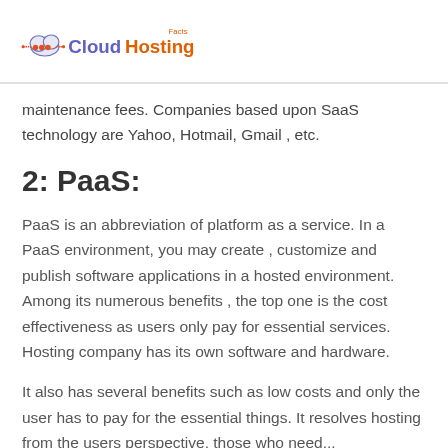[Figure (logo): CloudHostingFacts logo with cloud icon and orange/purple text]
maintenance fees. Companies based upon SaaS technology are Yahoo, Hotmail, Gmail , etc.
2: PaaS:
PaaS is an abbreviation of platform as a service. In a PaaS environment, you may create , customize and publish software applications in a hosted environment. Among its numerous benefits , the top one is the cost effectiveness as users only pay for essential services. Hosting company has its own software and hardware.
It also has several benefits such as low costs and only the user has to pay for the essential things. It resolves hosting from the users perspective, those who need...